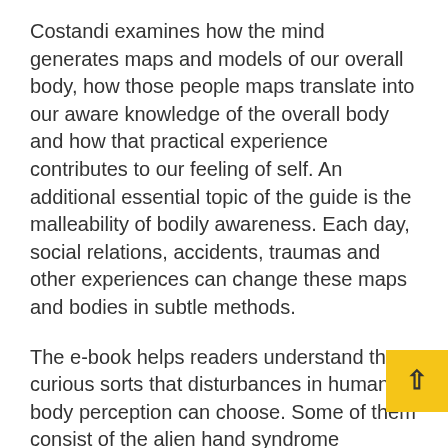Costandi examines how the mind generates maps and models of our overall body, how those people maps translate into our aware knowledge of the overall body and how that practical experience contributes to our feeling of self. An additional essential topic of the guide is the malleability of bodily awareness. Each day, social relations, accidents, traumas and other experiences can change these maps and bodies in subtle methods.
The e-book helps readers understand the curious sorts that disturbances in human body perception can choose. Some of them consist of the alien hand syndrome endured by people who feel that some exterior pressure is controlling the movement of their arm or hand the phantom limb condition (such as scarce circumstances of topics who experienced dropped their penis and who claimed phantom erections) or the condition suffered men and women who believe that that their entire bo improved into the overall body of an animal. Totally of in component (just one client was convinced he experienced